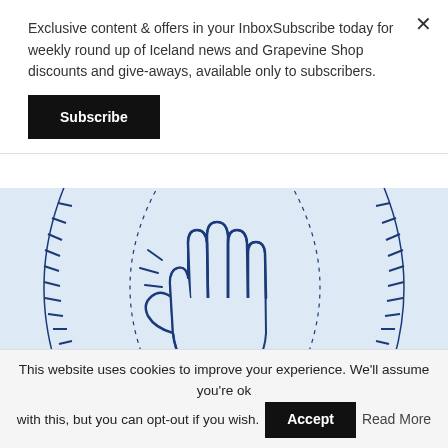Exclusive content & offers in your InboxSubscribe today for weekly round up of Iceland news and Grapevine Shop discounts and give-aways, available only to subscribers.
Subscribe
[Figure (illustration): Blue line illustration of a raised open hand (high five) overlaid on a baseball-like circular pattern with dotted arc lines and stitching details on a light blue background.]
The High Five (With A Secret Handshake!)
12 €
This website uses cookies to improve your experience. We'll assume you're ok with this, but you can opt-out if you wish.
Accept
Read More